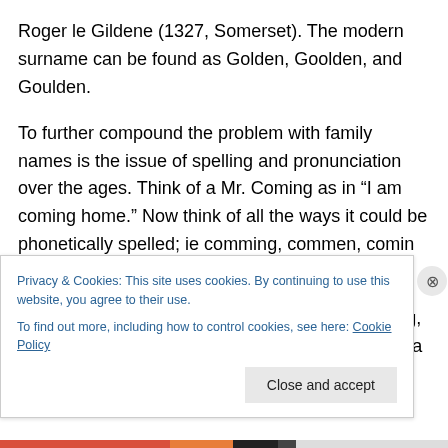Roger le Gildene (1327, Somerset). The modern surname can be found as Golden, Goolden, and Goulden.
To further compound the problem with family names is the issue of spelling and pronunciation over the ages. Think of a Mr. Coming as in “I am coming home.” Now think of all the ways it could be phonetically spelled; ie comming, commen, comin or comen.
Now think of Golding transformed into to Goolding, Goulding, Gilden and Golden depending on what a census taker, tax collector or immigration officer heard. Some old
Privacy & Cookies: This site uses cookies. By continuing to use this website, you agree to their use.
To find out more, including how to control cookies, see here: Cookie Policy